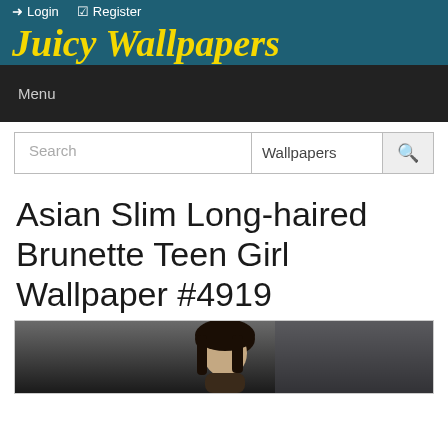Login  Register
Juicy Wallpapers
Menu
Search  Wallpapers
Asian Slim Long-haired Brunette Teen Girl Wallpaper #4919
[Figure (photo): Partial view of a young woman with long dark hair, photographed outdoors in front of a building. Only the top of the image is visible showing her face and hair.]